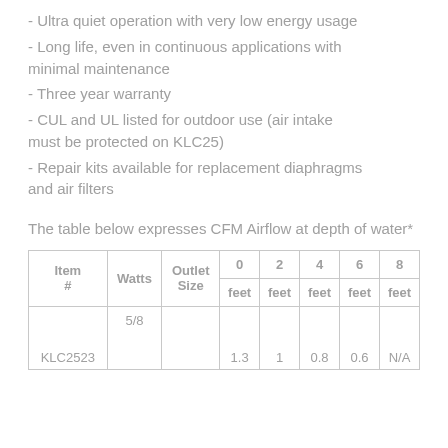- Ultra quiet operation with very low energy usage
- Long life, even in continuous applications with minimal maintenance
- Three year warranty
- CUL and UL listed for outdoor use (air intake must be protected on KLC25)
- Repair kits available for replacement diaphragms and air filters
The table below expresses CFM Airflow at depth of water*
| Item # | Watts | Outlet Size | 0 feet | 2 feet | 4 feet | 6 feet | 8 feet |
| --- | --- | --- | --- | --- | --- | --- | --- |
| KLC2523 | 5/8 | 1.3 | 1 | 0.8 | 0.6 | N/A |